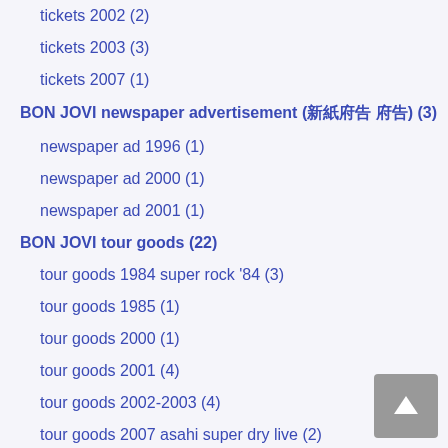tickets 2002 (2)
tickets 2003 (3)
tickets 2007 (1)
BON JOVI newspaper advertisement (新聞広告 広告) (3)
newspaper ad 1996 (1)
newspaper ad 2000 (1)
newspaper ad 2001 (1)
BON JOVI tour goods (22)
tour goods 1984 super rock '84 (3)
tour goods 1985 (1)
tour goods 2000 (1)
tour goods 2001 (4)
tour goods 2002-2003 (4)
tour goods 2007 asahi super dry live (2)
tour goods 2007-2008 (4)
tour goods 2010 (2)